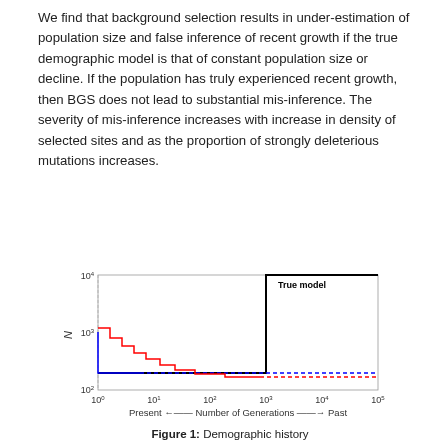We find that background selection results in under-estimation of population size and false inference of recent growth if the true demographic model is that of constant population size or decline. If the population has truly experienced recent growth, then BGS does not lead to substantial mis-inference. The severity of mis-inference increases with increase in density of selected sites and as the proportion of strongly deleterious mutations increases.
[Figure (continuous-plot): Log-log plot showing demographic history (N vs Number of Generations). Y-axis: N from 10^2 to 10^4. X-axis: Number of Generations from 10^0 (Present) to 10^5 (Past). Three lines: black step line (True model) starting high ~10^4 for generations 10^3 to 10^5, then dropping to ~200 at present; red step-line decreasing from ~10^3 at present to ~200 further in past then plateauing as dotted red; blue step-line decreasing sharply from ~10^3 to ~200 and plateauing as dotted blue.]
Figure 1: Demographic history